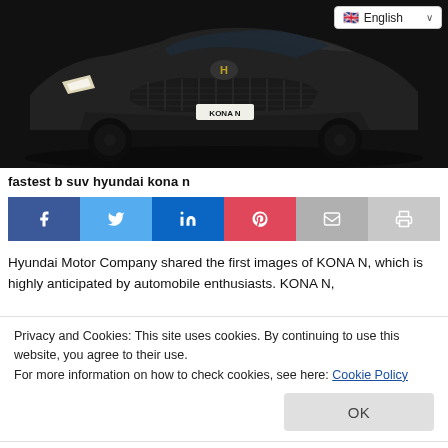[Figure (photo): Front view of black Hyundai KONA N SUV with license plate reading KONA N, photographed in a dark studio setting. A language selector dropdown showing the UK flag and 'English' is overlaid in the top right corner.]
fastest b suv hyundai kona n
[Figure (infographic): Social sharing bar with icons for Facebook (blue), Twitter (light blue), LinkedIn (blue), Pinterest (red/pink), Email (grey), and Print (grey)]
Hyundai Motor Company shared the first images of KONA N, which is highly anticipated by automobile enthusiasts. KONA N,
Privacy and Cookies: This site uses cookies. By continuing to use this website, you agree to their use.
For more information on how to check cookies, see here: Cookie Policy
range, reveals its sporty appearance at first glance with its